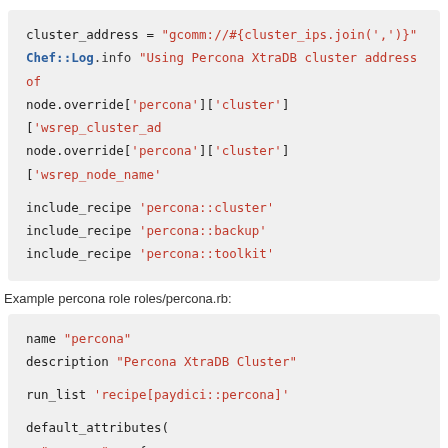[Figure (screenshot): Code block showing Ruby/Chef code: cluster_address assignment, Chef::Log.info line, two node.override lines, and three include_recipe lines for percona::cluster, percona::backup, and percona::toolkit]
Example percona role roles/percona.rb:
[Figure (screenshot): Code block showing Ruby/Chef role file: name 'percona', description 'Percona XtraDB Cluster', run_list 'recipe[paydici::percona]', default_attributes( 'percona' => { 'server' => {]